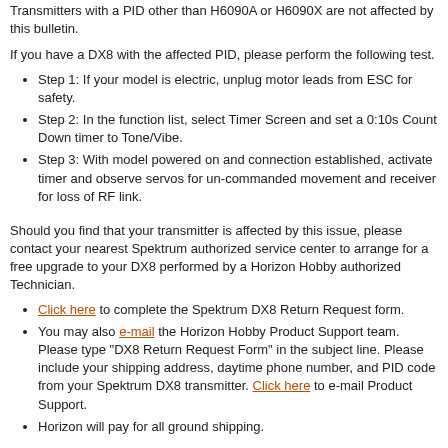Transmitters with a PID other than H6090A or H6090X are not affected by this bulletin.
If you have a DX8 with the affected PID, please perform the following test.
Step 1: If your model is electric, unplug motor leads from ESC for safety.
Step 2: In the function list, select Timer Screen and set a 0:10s Count Down timer to Tone/Vibe.
Step 3: With model powered on and connection established, activate timer and observe servos for un-commanded movement and receiver for loss of RF link.
Should you find that your transmitter is affected by this issue, please contact your nearest Spektrum authorized service center to arrange for a free upgrade to your DX8 performed by a Horizon Hobby authorized Technician.
Click here to complete the Spektrum DX8 Return Request form.
You may also e-mail the Horizon Hobby Product Support team. Please type "DX8 Return Request Form" in the subject line. Please include your shipping address, daytime phone number, and PID code from your Spektrum DX8 transmitter. Click here to e-mail Product Support.
Horizon will pay for all ground shipping.